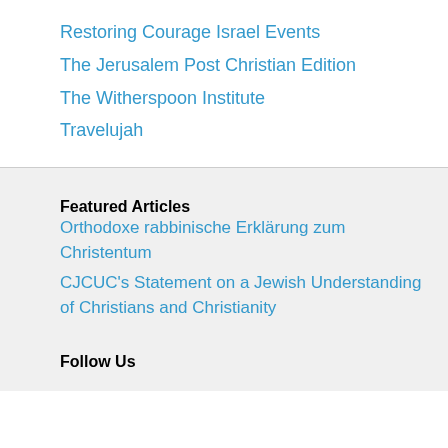Restoring Courage Israel Events
The Jerusalem Post Christian Edition
The Witherspoon Institute
Travelujah
Featured Articles
Orthodoxe rabbinische Erklärung zum Christentum
CJCUC's Statement on a Jewish Understanding of Christians and Christianity
Follow Us